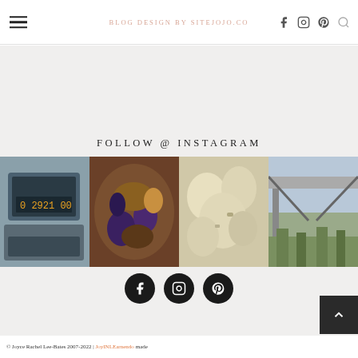BLOG DESIGN BY SITEJOJO.CO
FOLLOW @ INSTAGRAM
[Figure (photo): Four Instagram photo grid: treadmill display, eggplant dish, dumplings/gnocchi, outdoor structure]
[Figure (infographic): Three circular social media icons: Facebook, Instagram, Pinterest]
© Joyce Rachel Lee-Bates 2007-2022 | JoyINLEarnendo made